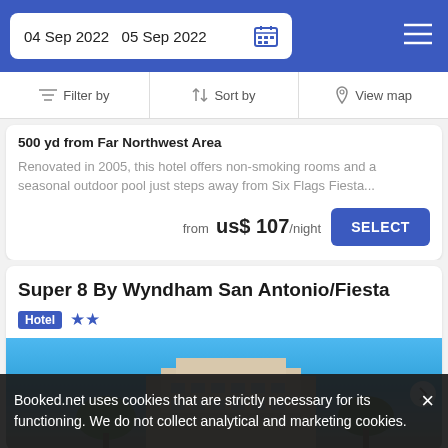04 Sep 2022  05 Sep 2022
Filter by  Sort by  View map
500 yd from Far Northwest Area
Renovated in 2005, this hotel offers non-smoking rooms and a seasonal outdoor pool just steps away from Six Flags Fiesta...
from us$ 107/night SELECT
Super 8 By Wyndham San Antonio/Fiesta
Hotel ★★
[Figure (photo): Hotel building exterior photo with blue sky background]
Booked.net uses cookies that are strictly necessary for its functioning. We do not collect analytical and marketing cookies.